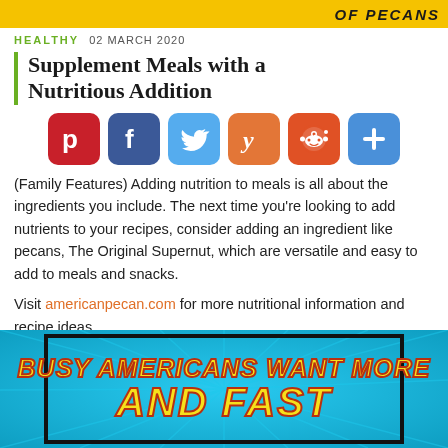[Figure (illustration): Top banner with yellow background and partial text 'OF PECANS' in bold black letters]
HEALTHY  02 MARCH 2020
Supplement Meals with a Nutritious Addition
[Figure (infographic): Social sharing buttons row: Pinterest (red), Facebook (blue), Twitter (light blue), Yummly (orange), Reddit (orange-red), More/Plus (blue)]
(Family Features) Adding nutrition to meals is all about the ingredients you include. The next time you're looking to add nutrients to your recipes, consider adding an ingredient like pecans, The Original Supernut, which are versatile and easy to add to meals and snacks.
Visit americanpecan.com for more nutritional information and recipe ideas.
[Figure (illustration): Comic-style banner with blue sunburst background, black border, and yellow text with red outline reading 'BUSY AMERICANS WANT MORE' and 'AND FAST']